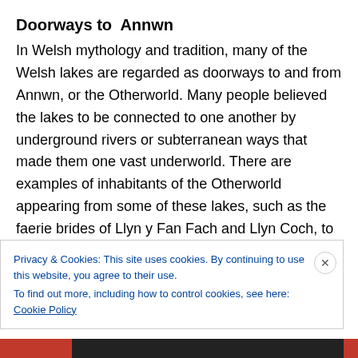Doorways to  Annwn
In Welsh mythology and tradition, many of the Welsh lakes are regarded as doorways to and from Annwn, or the Otherworld. Many people believed the lakes to be connected to one another by underground rivers or subterranean ways that made them one vast underworld. There are examples of inhabitants of the Otherworld appearing from some of these lakes, such as the faerie brides of Llyn y Fan Fach and Llyn Coch, to spend time on Earth and then return to their own world. Llyn Barfog
Privacy & Cookies: This site uses cookies. By continuing to use this website, you agree to their use.
To find out more, including how to control cookies, see here: Cookie Policy
Close and accept